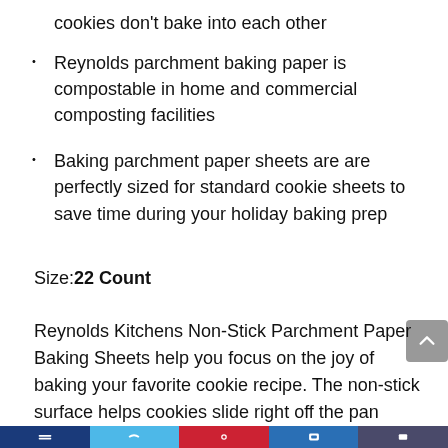cookies don't bake into each other
Reynolds parchment baking paper is compostable in home and commercial composting facilities
Baking parchment paper sheets are are perfectly sized for standard cookie sheets to save time during your holiday baking prep
Size: 22 Count
Reynolds Kitchens Non-Stick Parchment Paper Baking Sheets help you focus on the joy of baking your favorite cookie recipe. The non-stick surface helps cookies slide right off the pan without the need for cooking spray. This precut parchment paper for baking is folded twice and lays flat on